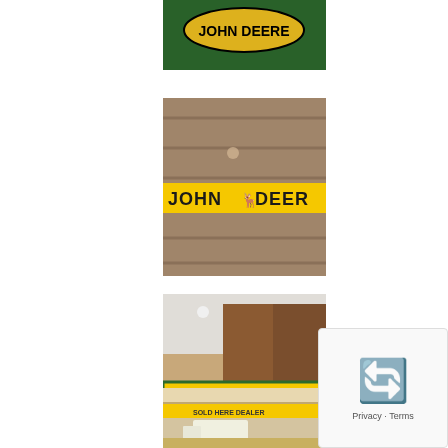[Figure (photo): Partial view of a John Deere sign with green background and yellow oval logo, cropped at top]
[Figure (photo): Close-up of a John Deere yellow sign strip with black text 'JOHN DEERE' and leaping deer logo, placed on weathered wooden boards]
[Figure (photo): John Deere yellow sign reading 'FARM TOYS SOLD HERE' in bold black text with green border, John Deere logo on left, displayed indoors near wooden cabinets]
[Figure (photo): Interior shelf scene with a yellow John Deere sign strip and toy farm equipment (white truck/semi) visible on wooden shelf]
[Figure (screenshot): Google reCAPTCHA widget showing 'Privacy - Terms' text]